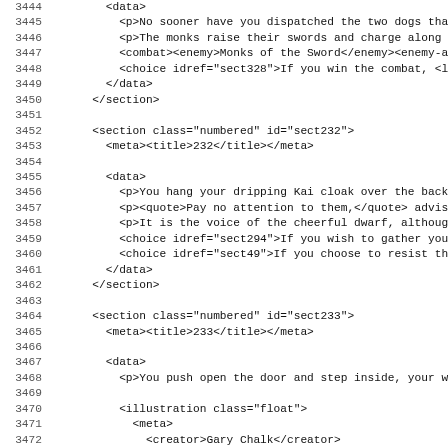Code listing showing XML source lines 3444-3475 with line numbers, depicting sections of a game book XML file including data elements, section tags, meta/title tags, paragraphs, combat, choice, illustration, and instance elements.